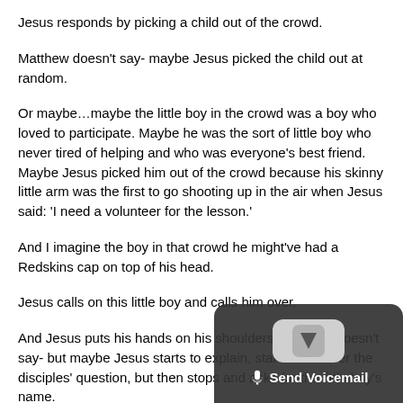Jesus responds by picking a child out of the crowd.
Matthew doesn't say- maybe Jesus picked the child out at random.
Or maybe…maybe the little boy in the crowd was a boy who loved to participate. Maybe he was the sort of little boy who never tired of helping and who was everyone's best friend. Maybe Jesus picked him out of the crowd because his skinny little arm was the first to go shooting up in the air when Jesus said: 'I need a volunteer for the lesson.'
And I imagine the boy in that crowd he might've had a Redskins cap on top of his head.
Jesus calls on this little boy and calls him over.
And Jesus puts his hands on his shoulders. Matthew doesn't say- but maybe Jesus starts to explain, starts to answer the disciples' question, but then stops and asks for the little boy's name.
'Josh' he says.
And then to all the grown-ups who think they have things figured out, to all the adults who think they have the answers, to all the people comfortable with their assumptions about heaven- Jesus tells those grown-ups that